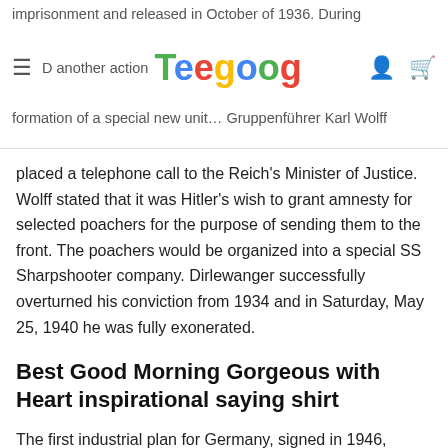imprisonment and released in October of 1936. During ≡D another action… the pos… formation of a special new unit… Gruppenführer Karl Wolff
placed a telephone call to the Reich's Minister of Justice. Wolff stated that it was Hitler's wish to grant amnesty for selected poachers for the purpose of sending them to the front. The poachers would be organized into a special SS Sharpshooter company. Dirlewanger successfully overturned his conviction from 1934 and in Saturday, May 25, 1940 he was fully exonerated.
Best Good Morning Gorgeous with Heart inspirational saying shirt
The first industrial plan for Germany, signed in 1946, required the Good Morning Gorgeous with Heart inspirational saying shirt of 1,500 manufacturing plants to lower German heavy industry output to roughly 50% of its 1938 level. Dismantling of West German industry only ended